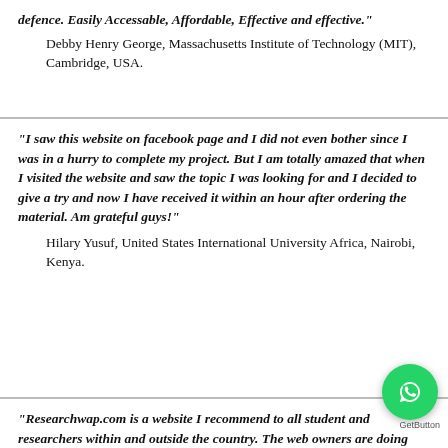defence. Easily Accessable, Affordable, Effective and effective."
    Debby Henry George, Massachusetts Institute of Technology (MIT), Cambridge, USA.
"I saw this website on facebook page and I did not even bother since I was in a hurry to complete my project. But I am totally amazed that when I visited the website and saw the topic I was looking for and I decided to give a try and now I have received it within an hour after ordering the material. Am grateful guys!"
    Hilary Yusuf, United States International University Africa, Nairobi, Kenya.
"Researchwap.com is a website I recommend to all student and researchers within and outside the country. The web owners are doing great job and appreciate them for that. Once again, thank you very much "researchwap.com" and God bless you and your business.."
[Figure (other): WhatsApp GetButton floating chat widget button (green circle with phone/WhatsApp icon)]